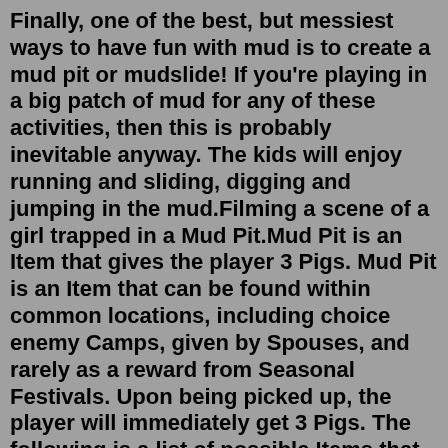Finally, one of the best, but messiest ways to have fun with mud is to create a mud pit or mudslide! If you're playing in a big patch of mud for any of these activities, then this is probably inevitable anyway. The kids will enjoy running and sliding, digging and jumping in the mud.Filming a scene of a girl trapped in a Mud Pit.Mud Pit is an Item that gives the player 3 Pigs. Mud Pit is an Item that can be found within common locations, including choice enemy Camps, given by Spouses, and rarely as a reward from Seasonal Festivals. Upon being picked up, the player will immediately get 3 Pigs. The following is a list of possible Items that can affect Mud Pit: Nasal Spray Pig Wings Snot Nose Swine Turret Tumors Instant mud crawl pits! Fill a big pool or pit with instant mud and cover it with ropes, bunting or a big net to make fun run participants get down and crawl through the mud to get through the obstacle. This will surely add some excitement to your events and will give you great pictures of people covered in mud for future memories. Watch out to not swallow it or eat it for